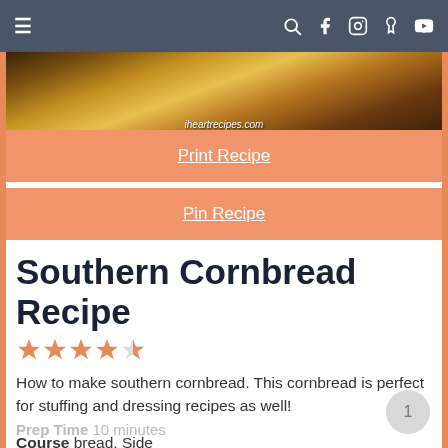≡  (navigation bar with search, facebook, instagram, pinterest, youtube icons)
[Figure (photo): Photo of cornbread with iheartrecipes.com watermark]
Print Recipe
Pin Recipe
Southern Cornbread Recipe
★★★★½ (4.5 stars rating)
How to make southern cornbread. This cornbread is perfect for stuffing and dressing recipes as well!
Course bread, Side
Cuisine Soul Food, Southern
Keyword cornbread, Southern Cornbread
Prep Time 10 minutes